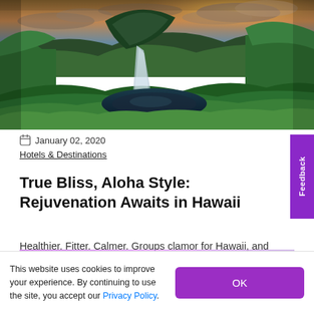[Figure (photo): Aerial view of a tropical waterfall cascading into a dark pool surrounded by lush green jungle vegetation and dramatic cloudy sky at sunset, Hawaii landscape]
January 02, 2020
Hotels & Destinations
True Bliss, Aloha Style: Rejuvenation Awaits in Hawaii
Healthier. Fitter. Calmer. Groups clamor for Hawaii, and attendance at MICE happenings in the Aloha State is always
This website uses cookies to improve your experience. By continuing to use the site, you accept our Privacy Policy.